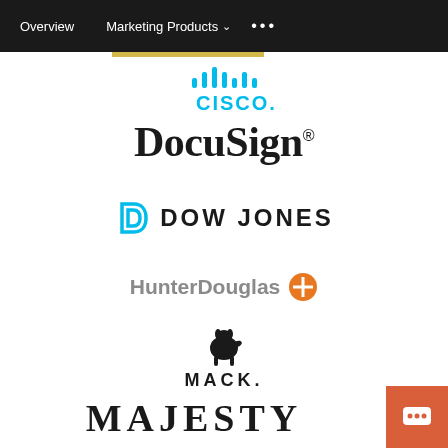Overview   Marketing Products   ...
[Figure (logo): Cisco logo with stylized antenna bars above the word CISCO in teal/blue color]
[Figure (logo): DocuSign logo in bold black serif font with registered trademark symbol]
[Figure (logo): Dow Jones logo with teal D icon and DOW JONES in bold black uppercase letters]
[Figure (logo): HunterDouglas logo in gray bold font with orange plus/cross icon]
[Figure (logo): MACK logo with bulldog mascot silhouette above bold uppercase MACK text]
[Figure (logo): MAJESTY text logo in large bold serif uppercase letters]